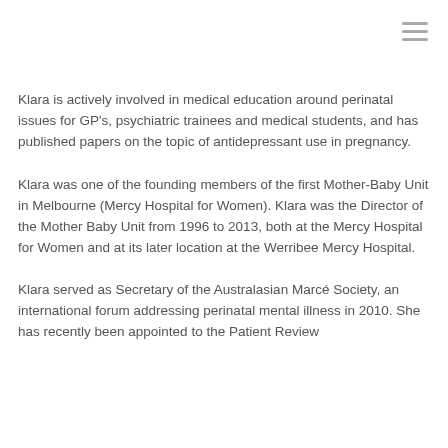Klara is actively involved in medical education around perinatal issues for GP's, psychiatric trainees and medical students, and has published papers on the topic of antidepressant use in pregnancy.
Klara was one of the founding members of the first Mother-Baby Unit in Melbourne (Mercy Hospital for Women). Klara was the Director of the Mother Baby Unit from 1996 to 2013, both at the Mercy Hospital for Women and at its later location at the Werribee Mercy Hospital.
Klara served as Secretary of the Australasian Marcé Society, an international forum addressing perinatal mental illness in 2010. She has recently been appointed to the Patient Review